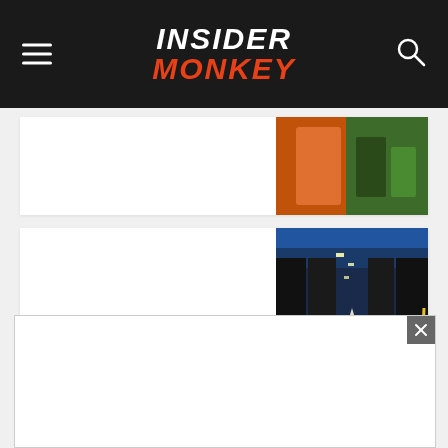INSIDER MONKEY
[Figure (photo): Partial article card at top with orange and teal colored image]
10 Best Tech Stocks to Buy For The Long Term
[Figure (photo): Server room or data center hallway with black server racks and blue ceiling]
Naval Ravikant's Latest Investment Portfolio: 10
[Figure (photo): Man smiling in white polo shirt outdoors]
[Figure (other): Advertisement overlay with close button]